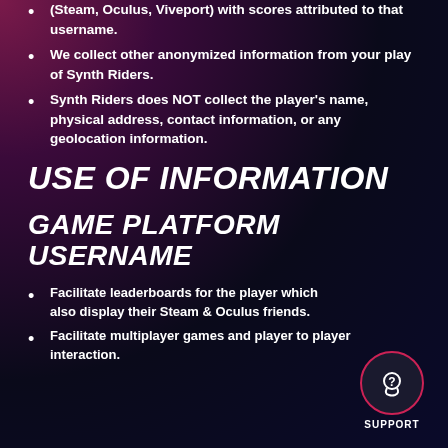(Steam, Oculus, Viveport) with scores attributed to that username.
We collect other anonymized information from your play of Synth Riders.
Synth Riders does NOT collect the player's name, physical address, contact information, or any geolocation information.
USE OF INFORMATION
GAME PLATFORM USERNAME
Facilitate leaderboards for the player which also display their Steam & Oculus friends.
Facilitate multiplayer games and player to player interaction.